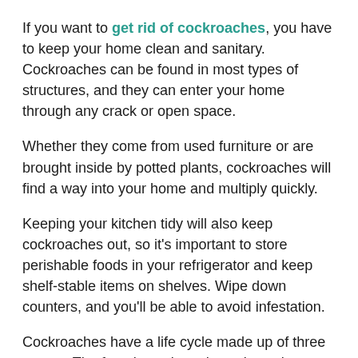If you want to get rid of cockroaches, you have to keep your home clean and sanitary. Cockroaches can be found in most types of structures, and they can enter your home through any crack or open space.
Whether they come from used furniture or are brought inside by potted plants, cockroaches will find a way into your home and multiply quickly.
Keeping your kitchen tidy will also keep cockroaches out, so it's important to store perishable foods in your refrigerator and keep shelf-stable items on shelves. Wipe down counters, and you'll be able to avoid infestation.
Cockroaches have a life cycle made up of three stages. The female cockroach produces between twelve and thirty-six eggs at a time, which are protected in a bean-shaped capsule.